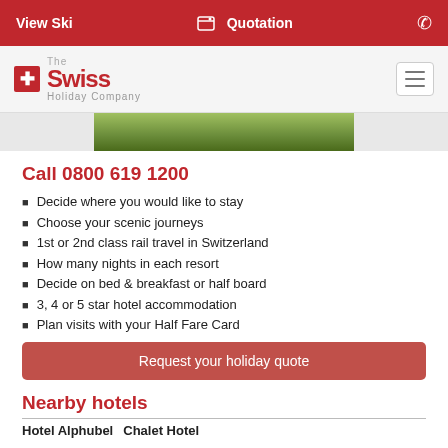View Ski  |  Quotation  |  📞
[Figure (logo): The Swiss Holiday Company logo with red cross icon]
[Figure (photo): Partial photo strip showing green meadow/landscape]
Call 0800 619 1200
Decide where you would like to stay
Choose your scenic journeys
1st or 2nd class rail travel in Switzerland
How many nights in each resort
Decide on bed & breakfast or half board
3, 4 or 5 star hotel accommodation
Plan visits with your Half Fare Card
Request your holiday quote
Nearby hotels
Hotel Alphubel    Chalet Hotel